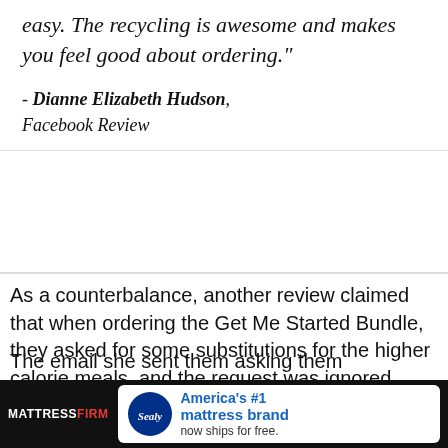easy. The recycling is awesome and makes you feel good about ordering."
- Dianne Elizabeth Hudson, Facebook Review
As a counterbalance, another review claimed that when ordering the Get Me Started Bundle, they asked for some substitutions for the higher calorie meals, and the request was ignored.
The email she sent them asking them why...
[Figure (other): Advertisement banner: MattressFirm and Sealy - America's #1 mattress brand now ships for free.]